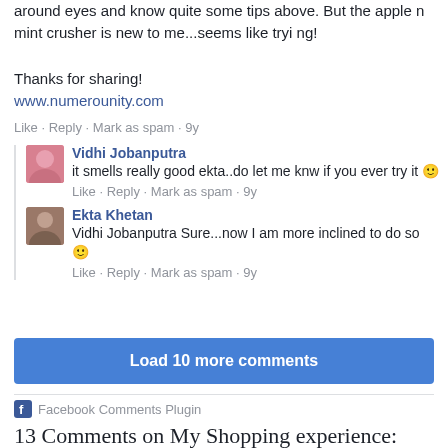around eyes and know quite some tips above. But the apple n mint crusher is new to me...seems like trying!
Thanks for sharing!
www.numerounity.com
Like · Reply · Mark as spam · 9y
Vidhi Jobanputra
it smells really good ekta..do let me knw if you ever try it 🙂
Like · Reply · Mark as spam · 9y
Ekta Khetan
Vidhi Jobanputra Sure...now I am more inclined to do so 🙂
Like · Reply · Mark as spam · 9y
Load 10 more comments
Facebook Comments Plugin
13 Comments on My Shopping experience: